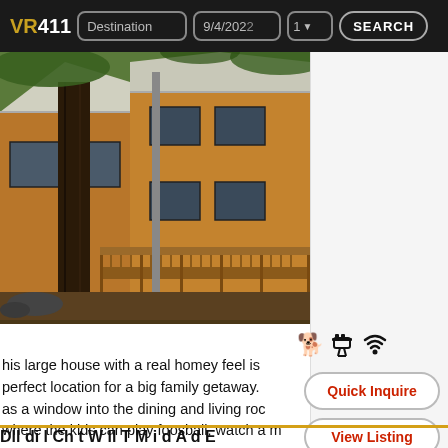VR411 | Destination | 9/4/2022 | 1 | SEARCH
[Figure (photo): Exterior photo of a large wooden cabin/house with a deck and tall pine trees in front, surrounded by forest.]
his large house with a real homey feel is perfect location for a big family getaway. as a window into the dining and living roo where the kids can play foosball, watch a m r run…
Quick Inquire
View Listing
Dll di l Ch t W ll T M i d A d E